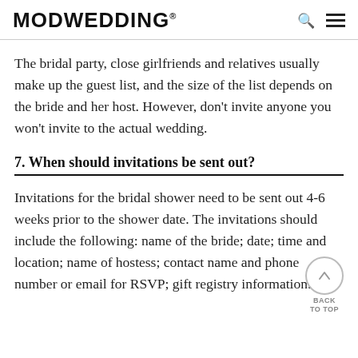MODWEDDING®
The bridal party, close girlfriends and relatives usually make up the guest list, and the size of the list depends on the bride and her host. However, don't invite anyone you won't invite to the actual wedding.
7. When should invitations be sent out?
Invitations for the bridal shower need to be sent out 4-6 weeks prior to the shower date. The invitations should include the following: name of the bride; date; time and location; name of hostess; contact name and phone number or email for RSVP; gift registry information.